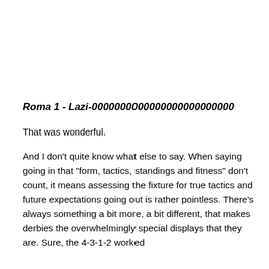Roma 1 - Lazi-0000000000000000000000000
That was wonderful.
And I don't quite know what else to say. When saying going in that "form, tactics, standings and fitness" don't count, it means assessing the fixture for true tactics and future expectations going out is rather pointless. There's always something a bit more, a bit different, that makes derbies the overwhelmingly special displays that they are. Sure, the 4-3-1-2 worked